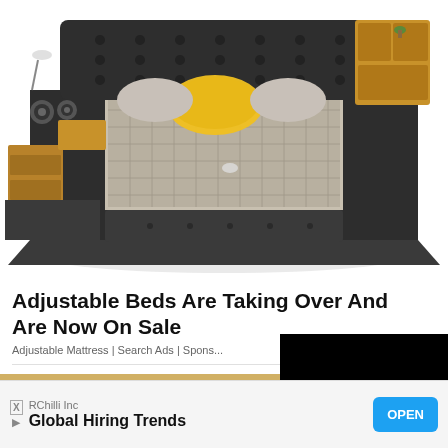[Figure (photo): A large modern multifunctional bed with dark gray upholstered frame, built-in storage compartments and shelves on the sides, speakers, reading lamp, yellow pillow, and patterned bedding, photographed from above-angle against a white background.]
Adjustable Beds Are Taking Over And Are Now On Sale
Adjustable Mattress | Search Ads | Sponsored
[Figure (photo): Close-up photo of a young blonde woman with blue eyes looking upward.]
[Figure (other): Black rectangle (video player overlay)]
RChilli Inc
Global Hiring Trends